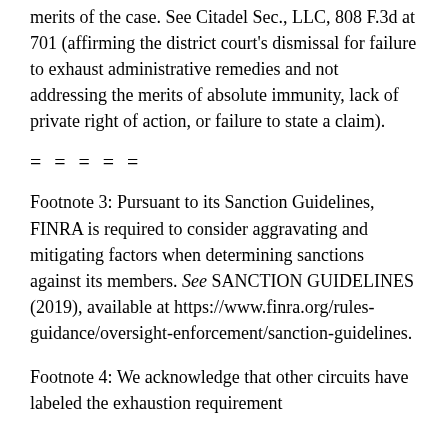merits of the case. See Citadel Sec., LLC, 808 F.3d at 701 (affirming the district court's dismissal for failure to exhaust administrative remedies and not addressing the merits of absolute immunity, lack of private right of action, or failure to state a claim).
= = = = =
Footnote 3: Pursuant to its Sanction Guidelines, FINRA is required to consider aggravating and mitigating factors when determining sanctions against its members. See SANCTION GUIDELINES (2019), available at https://www.finra.org/rules-guidance/oversight-enforcement/sanction-guidelines.
Footnote 4: We acknowledge that other circuits have labeled the exhaustion requirement